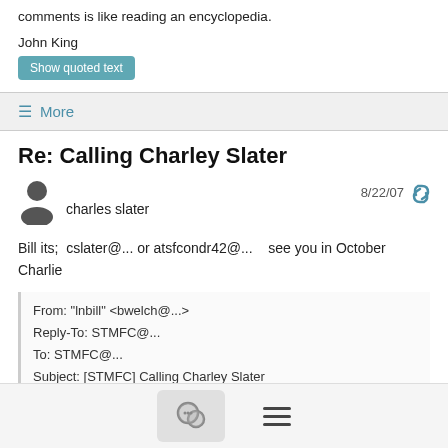comments is like reading an encyclopedia.
John King
Show quoted text
≡ More
Re: Calling Charley Slater
charles slater   8/22/07
Bill its;  cslater@... or atsfcondr42@...    see you in October
Charlie
From: "lnbill" <bwelch@...>
Reply-To: STMFC@...
To: STMFC@...
Subject: [STMFC] Calling Charley Slater